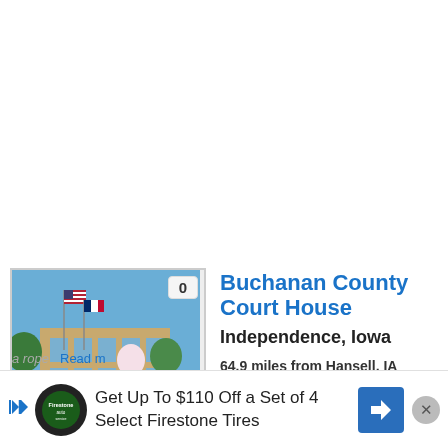[Figure (photo): Photograph of Buchanan County Court House, a tan stone building with American flag and Iowa flag on flagpoles, trees in foreground, blue sky background. Badge showing '0' in top-right corner.]
Buchanan County Court House
Independence, Iowa
64.9 miles from Hansell, IA
It is said that in the late 1800s or early 1900s a man was hung here, but something went awry with the process and he died a slow, painful death. His ghost is said to haunt the place at night; it has been seen hanging from a rope
[Figure (infographic): Advertisement banner: Get Up To $110 Off a Set of 4 Select Firestone Tires, with Firestone auto logo, navigation arrow icon, and close button]